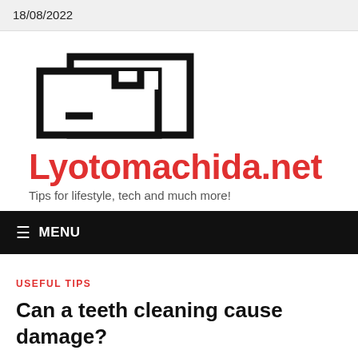18/08/2022
[Figure (logo): Lyotomachida.net website logo — two overlapping rectangular house/document outlines in black]
Lyotomachida.net
Tips for lifestyle, tech and much more!
≡ MENU
USEFUL TIPS
Can a teeth cleaning cause damage?
Can a teeth cleaning cause